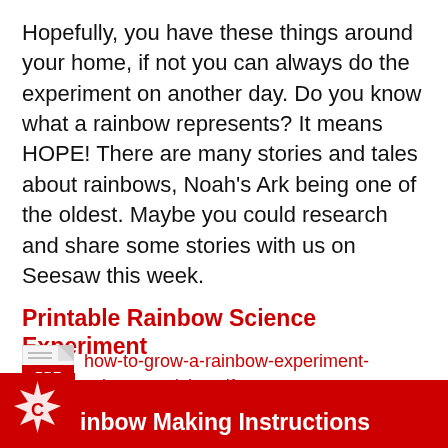Hopefully, you have these things around your home, if not you can always do the experiment on another day. Do you know what a rainbow represents? It means HOPE! There are many stories and tales about rainbows, Noah's Ark being one of the oldest. Maybe you could research and share some stories with us on Seesaw this week.
Printable Rainbow Science Experiment
[Figure (illustration): PDF file icon (red Adobe PDF icon) next to a link text 'how-to-grow-a-rainbow-experiment-science-activity.pdf' in red]
Rainbow Making Instructions